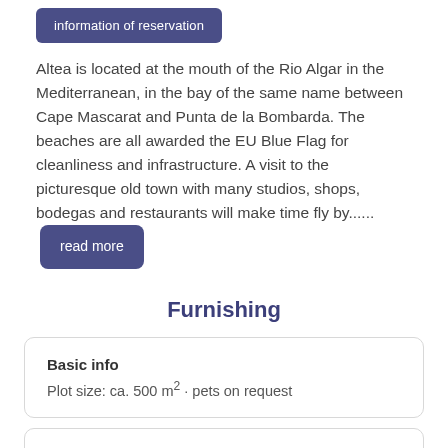information of reservation
Altea is located at the mouth of the Rio Algar in the Mediterranean, in the bay of the same name between Cape Mascarat and Punta de la Bombarda. The beaches are all awarded the EU Blue Flag for cleanliness and infrastructure. A visit to the picturesque old town with many studios, shops, bodegas and restaurants will make time fly by......
read more
Furnishing
Basic info
Plot size: ca. 500 m² · pets on request